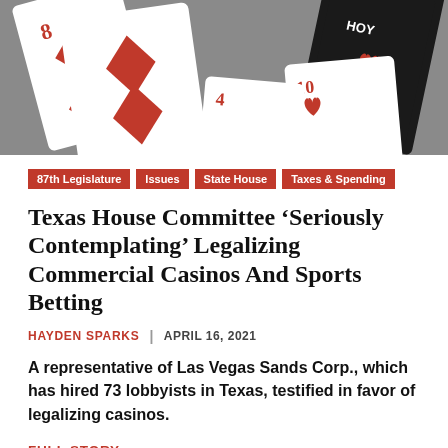[Figure (photo): Close-up photo of playing cards (red and white with diamonds/hearts suits) spread out on a surface, showing card faces including 8, 10, 4 and a HOY branded card deck.]
87th Legislature
Issues
State House
Taxes & Spending
Texas House Committee 'Seriously Contemplating' Legalizing Commercial Casinos And Sports Betting
HAYDEN SPARKS  |  APRIL 16, 2021
A representative of Las Vegas Sands Corp., which has hired 73 lobbyists in Texas, testified in favor of legalizing casinos.
FULL STORY →
[Figure (photo): Partially visible black and white photo of what appears to be a stadium or arena structure.]